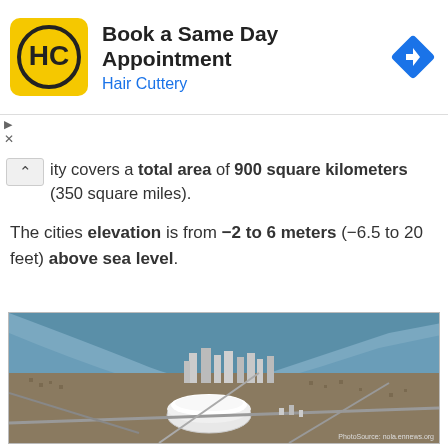[Figure (other): Hair Cuttery advertisement banner: logo (HC in black on yellow square), 'Book a Same Day Appointment' heading, 'Hair Cuttery' subtext in blue, and a blue navigation diamond icon on the right.]
ity covers a total area of 900 square kilometers (350 square miles).
The cities elevation is from −2 to 6 meters (−6.5 to 20 feet) above sea level.
[Figure (photo): Aerial photograph of New Orleans showing the Superdome, downtown skyline, Mississippi River bend, and surrounding urban area. Photo source: nola.ennews.org]